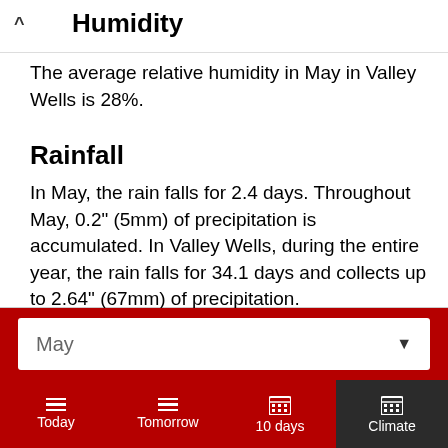Humidity
The average relative humidity in May in Valley Wells is 28%.
Rainfall
In May, the rain falls for 2.4 days. Throughout May, 0.2" (5mm) of precipitation is accumulated. In Valley Wells, during the entire year, the rain falls for 34.1 days and collects up to 2.64" (67mm) of precipitation.
May
Today  Tomorrow  10 days  Climate